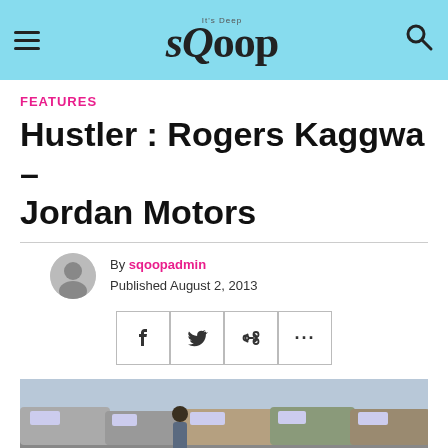sQoop
FEATURES
Hustler : Rogers Kaggwa – Jordan Motors
By sqoopadmin
Published August 2, 2013
[Figure (screenshot): Social sharing buttons: Facebook, Twitter, link/copy, more (ellipsis)]
[Figure (photo): Photo of a man standing in front of parked cars at Jordan Motors]